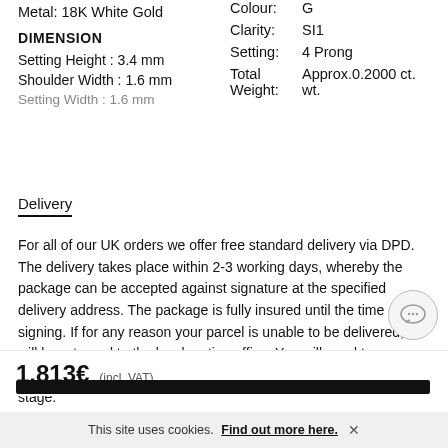Metal: 18K White Gold
Colour: G
Clarity: SI1
DIMENSION
Setting: 4 Prong
Setting Height : 3.4 mm
Total Weight: Approx.0.2000 ct. wt.
Shoulder Width : 1.6 mm
Setting Width : 1.6 mm
Delivery
For all of our UK orders we offer free standard delivery via DPD. The delivery takes place within 2-3 working days, whereby the package can be accepted against signature at the specified delivery address. The package is fully insured until the time of signing. If for any reason your parcel is unable to be delivered, it will be returned to the local sorting office. You will need to provide a form of identification to pick up your order at this stage.
1,813€ (incl. VAT)
This site uses cookies. Find out more here.